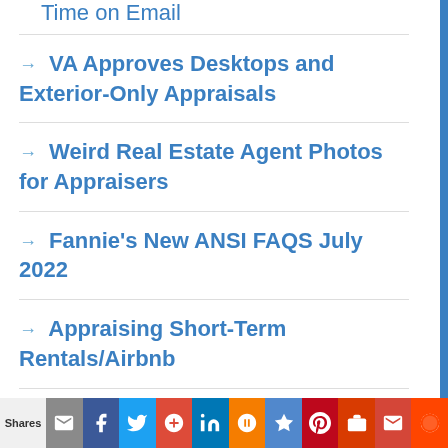Time on Email
VA Approves Desktops and Exterior-Only Appraisals
Weird Real Estate Agent Photos for Appraisers
Fannie's New ANSI FAQS July 2022
Appraising Short-Term Rentals/Airbnb
VA Appraisals and Fee Appraisers
Shares